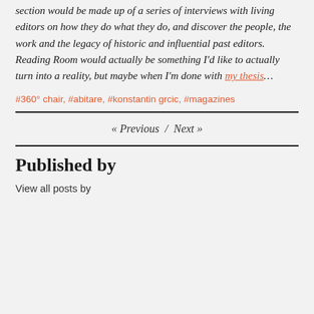section would be made up of a series of interviews with living editors on how they do what they do, and discover the people, the work and the legacy of historic and influential past editors. Reading Room would actually be something I'd like to actually turn into a reality, but maybe when I'm done with my thesis…
#360° chair, #abitare, #konstantin grcic, #magazines
« Previous / Next »
Published by
View all posts by